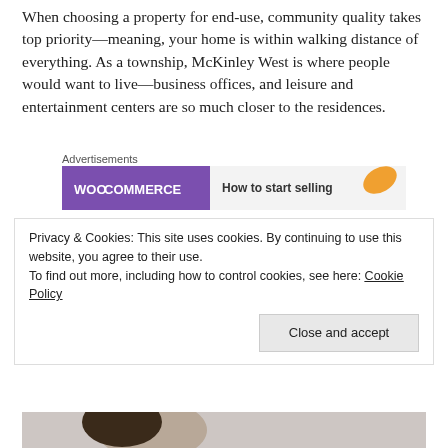When choosing a property for end-use, community quality takes top priority—meaning, your home is within walking distance of everything. As a township, McKinley West is where people would want to live—business offices, and leisure and entertainment centers are so much closer to the residences.
[Figure (other): Advertisement banner for WooCommerce showing 'How to start selling' with purple and teal design elements and an orange leaf shape]
[Figure (photo): Photo of a woman with dark hair smiling, with green tropical plant/palm fronds in background]
Privacy & Cookies: This site uses cookies. By continuing to use this website, you agree to their use.
To find out more, including how to control cookies, see here: Cookie Policy
[Close and accept button]